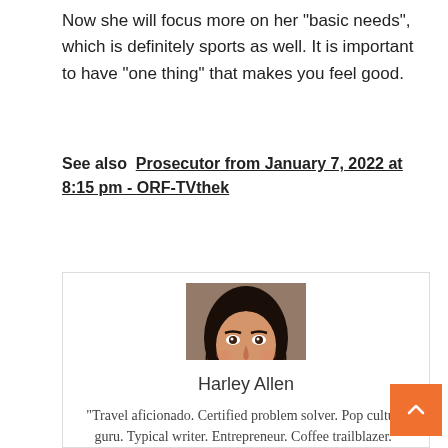Now she will focus more on her “basic needs”, which is definitely sports as well. It is important to have “one thing” that makes you feel good.
See also  Prosecutor from January 7, 2022 at 8:15 pm - ORF-TVthek
[Figure (photo): Portrait photo of a smiling young woman with long dark hair]
Harley Allen
“Travel aficionado. Certified problem solver. Pop culture guru. Typical writer. Entrepreneur. Coffee trailblazer.”